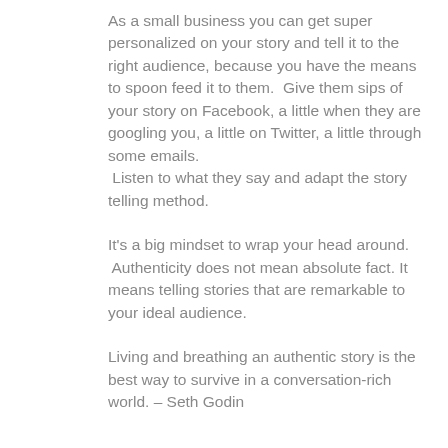As a small business you can get super personalized on your story and tell it to the right audience, because you have the means to spoon feed it to them.  Give them sips of your story on Facebook, a little when they are googling you, a little on Twitter, a little through some emails.  Listen to what they say and adapt the story telling method.
It's a big mindset to wrap your head around.  Authenticity does not mean absolute fact. It means telling stories that are remarkable to your ideal audience.
Living and breathing an authentic story is the best way to survive in a conversation-rich world. – Seth Godin